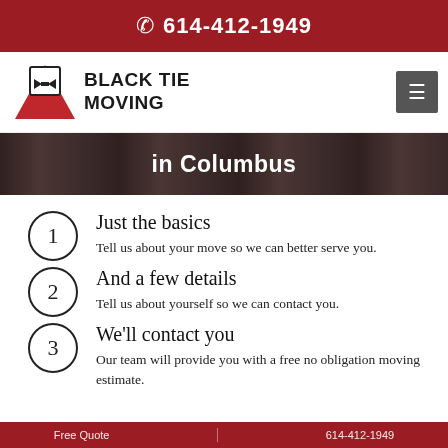614-412-1949
[Figure (logo): Black Tie Moving logo with red triangle and bow-tie emblem, next to brand text 'BLACK TIE MOVING']
in Columbus
1 Just the basics — Tell us about your move so we can better serve you.
2 And a few details — Tell us about yourself so we can contact you.
3 We'll contact you — Our team will provide you with a free no obligation moving estimate.